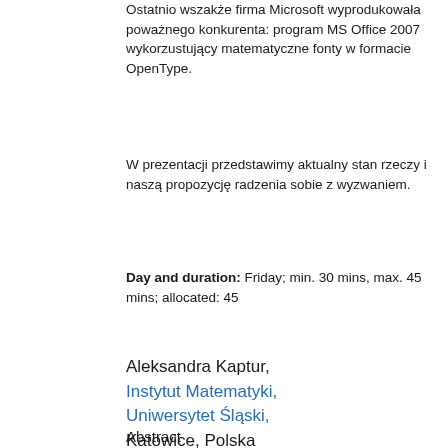Ostatnio wszakże firma Microsoft wyprodukowała poważnego konkurenta: program MS Office 2007 wykorzustujący matematyczne fonty w formacie OpenType.
W prezentacji przedstawimy aktualny stan rzeczy i naszą propozycję radzenia sobie z wyzwaniem.
Day and duration: Friday; min. 30 mins, max. 45 mins; allocated: 45
Aleksandra Kaptur, Instytut Matematyki, Uniwersytet Śląski, Katowice, Polska Introducing Stefan
Abstract